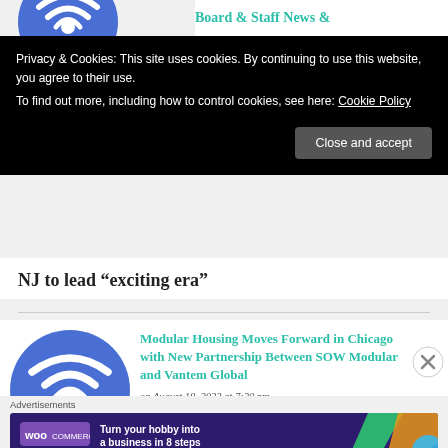Board & Staff News &
Privacy & Cookies: This site uses cookies. By continuing to use this website, you agree to their use. To find out more, including how to control cookies, see here: Cookie Policy
Close and accept
NJ to lead “exciting era”
[Figure (logo): Blue circle with white WiFi signal icon]
Modular Housing Moves Forward in Chicago with New Partnership Between SOW Modular and Vantem Global
on August 18, 2022 at 7:20 pm
Advertisements
[Figure (other): WooCommerce advertisement banner: Turn your hobby into a business in 8 steps]